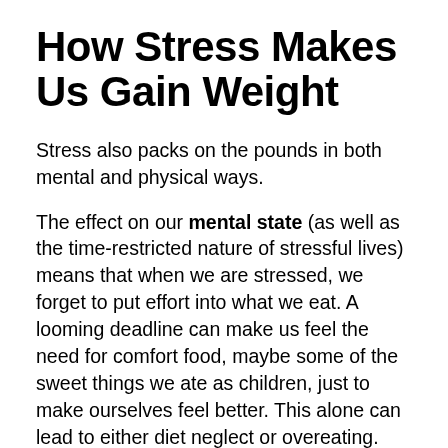How Stress Makes Us Gain Weight
Stress also packs on the pounds in both mental and physical ways.
The effect on our mental state (as well as the time-restricted nature of stressful lives) means that when we are stressed, we forget to put effort into what we eat. A looming deadline can make us feel the need for comfort food, maybe some of the sweet things we ate as children, just to make ourselves feel better. This alone can lead to either diet neglect or overeating.